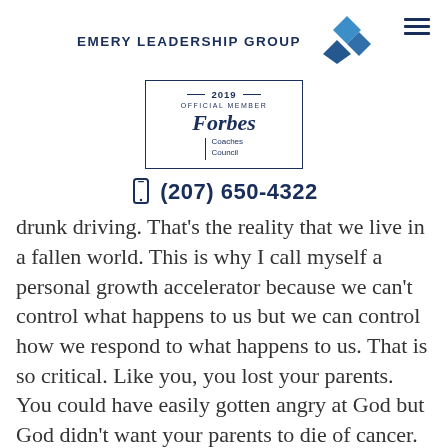[Figure (logo): Emery Leadership Group logo with blue diamond shapes and company name]
[Figure (logo): Forbes Coaches Council 2019 Official Member badge in a rectangular border]
(207) 650-4322
drunk driving. That’s the reality that we live in a fallen world. This is why I call myself a personal growth accelerator because we can’t control what happens to us but we can control how we respond to what happens to us. That is so critical. Like you, you lost your parents. You could have easily gotten angry at God but God didn’t want your parents to die of cancer. We live